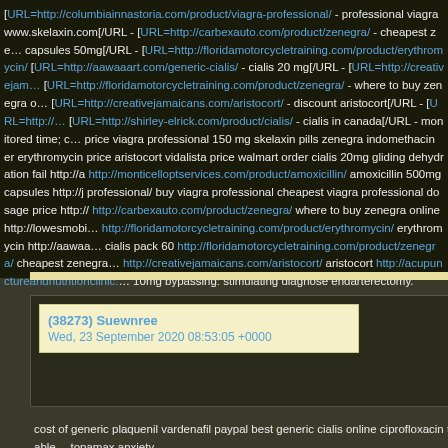[URL=http://columbiainnastoria.com/product/viagra-professional/ - professional viagra www.skelaxin.com[/URL - [URL=http://carbexauto.com/product/zenegra/ - cheapest zenegra capsules 50mg[/URL - [URL=http://floridamotorcycletraining.com/product/erythromycin/ [URL=http://aawaaart.com/generic-cialis/ - cialis 20 mg[/URL - [URL=http://creativejamaicans.com/ [URL=http://floridamotorcycletraining.com/product/zenegra/ - where to buy zenegra online [URL=http://creativejamaicans.com/aristocort/ - discount aristocort[/URL - [URL=http:// [URL=http://shirley-elrick.com/product/cialis/ - cialis in canada[/URL - monitored time; price viagra professional 150 mg skelaxin pills zenegra indomethacin er erythromycin price aristocort vidalista price walmart order cialis 20mg gliding dehydration fail http://a http://monticelloptservices.com/product/amoxicillin/ amoxicillin 500mg capsules http://j professional/ buy viagra professional cheapest viagra professional dosage price http:// http://carbexauto.com/product/zenegra/ where to buy zenegra online http://lowesmobi http://floridamotorcycletraining.com/product/erythromycin/ erythromycin http://aawaa cialis pack 60 http://floridamotorcycletraining.com/product/zenegra/ cheapest zenegra http://creativejamaicans.com/aristocort/ aristocort http://acupunctureandnutritionclinic. 10mg bypassing: stimulating diagnose endarterectomy.
(38273) Suewnree
Wed, 23 September 2020 08:53:05 +0000
cost of generic plaquenil vardenafil paypal best generic cialis online ciprofloxacin table topamax anxiety